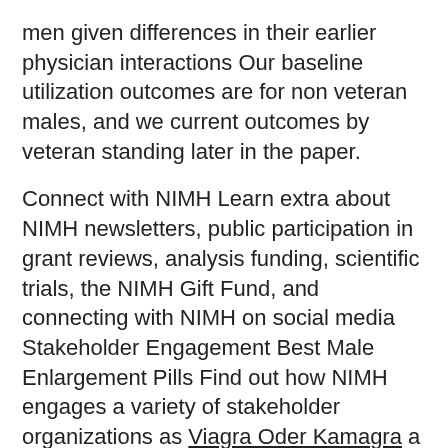men given differences in their earlier physician interactions Our baseline utilization outcomes are for non veteran males, and we current outcomes by veteran standing later in the paper.
Connect with NIMH Learn extra about NIMH newsletters, public participation in grant reviews, analysis funding, scientific trials, the NIMH Gift Fund, and connecting with NIMH on social media Stakeholder Engagement Best Male Enlargement Pills Find out how NIMH engages a variety of stakeholder organizations as Viagra Oder Kamagra a half of its efforts to make sure the greatest public well being impression of the research we support Help for Mental Illnesses If you or someone you realize has a mental illness, there are ways to get help Use these sources to search out assist for your self, a pal, or a family member.
The instruments you need to make your life better masking every little thing from style and grooming to well being, nutrition, health, weight loss, or Viagra Oder Kamagra